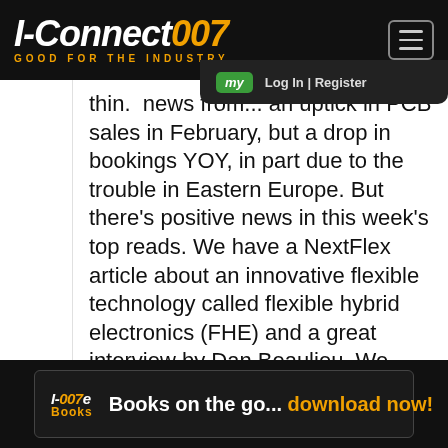I-Connect007 — GOOD FOR THE INDUSTRY
thin. news from... an uptick in PCB sales in February, but a drop in bookings YOY, in part due to the trouble in Eastern Europe. But there's positive news in this week's top reads. We have a NextFlex article about an innovative flexible technology called flexible hybrid electronics (FHE) and a great interview by Dan Beaulieu. We also have a column by Travis Kelly, who discusses PCBAA's efforts to lobby for American...
I-007e Books — Books on the go... download now!